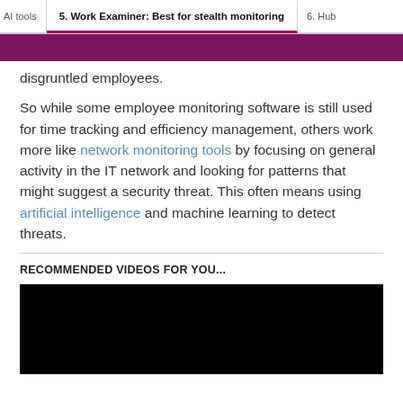AI tools | 5. Work Examiner: Best for stealth monitoring | 6. Hub...
disgruntled employees.
So while some employee monitoring software is still used for time tracking and efficiency management, others work more like network monitoring tools by focusing on general activity in the IT network and looking for patterns that might suggest a security threat. This often means using artificial intelligence and machine learning to detect threats.
RECOMMENDED VIDEOS FOR YOU...
[Figure (other): Black video player rectangle]